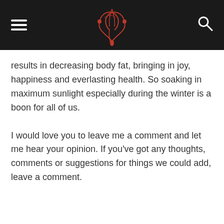results in decreasing body fat, bringing in joy, happiness and everlasting health. So soaking in maximum sunlight especially during the winter is a boon for all of us.
I would love you to leave me a comment and let me hear your opinion. If you've got any thoughts, comments or suggestions for things we could add, leave a comment.